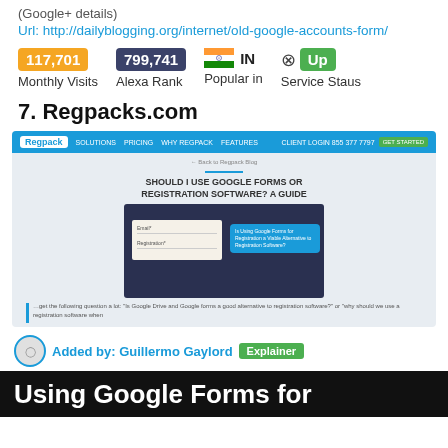(Google+ details)
Url: http://dailyblogging.org/internet/old-google-accounts-form/
| Monthly Visits | Alexa Rank | Popular in | Service Staus |
| --- | --- | --- | --- |
| 117,701 | 799,741 | IN | Up |
7. Regpacks.com
[Figure (screenshot): Screenshot of Regpacks.com website showing a blog post titled 'SHOULD I USE GOOGLE FORMS OR REGISTRATION SOFTWARE? A GUIDE' with a blue navigation bar at top, a nested screenshot showing a form and Google Forms comparison popup, and a text preview below.]
Added by: Guillermo Gaylord   Explainer
Using Google Forms for